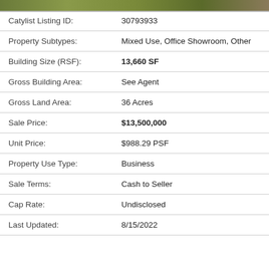[Figure (photo): Property photo strip at top of listing]
| Field | Value |
| --- | --- |
| Catylist Listing ID: | 30793933 |
| Property Subtypes: | Mixed Use, Office Showroom, Other |
| Building Size (RSF): | 13,660 SF |
| Gross Building Area: | See Agent |
| Gross Land Area: | 36 Acres |
| Sale Price: | $13,500,000 |
| Unit Price: | $988.29 PSF |
| Property Use Type: | Business |
| Sale Terms: | Cash to Seller |
| Cap Rate: | Undisclosed |
| Last Updated: | 8/15/2022 |